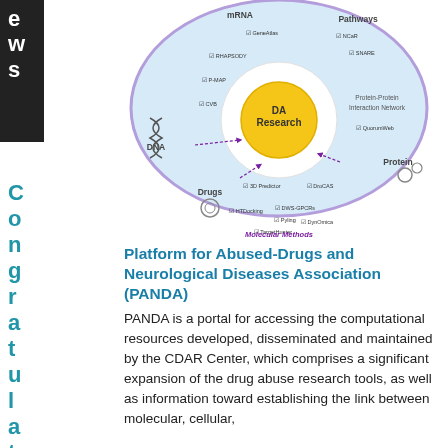[Figure (infographic): Circular diagram showing the DA Research platform at the center, surrounded by sectors for mRNA, Pathways, Protein-Protein Interaction Network, Protein, Drugs, and DNA, with various tool names such as GeneAtlas, SNARE, NCaR, RHAPSODY, P-MAP, CVB, 3D Predictor, DroCAS, DWS-GPCRs, Pyling, HTDocking, DynOmica, TargetHunter, and QuorumWeb labeled around the circle. The outer ring is labeled Molecular Methods.]
Platform for Abused-Drugs and Neurological Diseases Association (PANDA)
PANDA is a portal for accessing the computational resources developed, disseminated and maintained by the CDAR Center, which comprises a significant expansion of the drug abuse research tools, as well as information toward establishing the link between molecular, cellular,